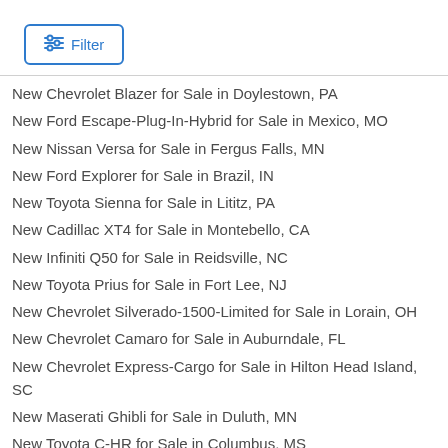[Figure (other): Filter button with sliders icon and blue border]
New Chevrolet Blazer for Sale in Doylestown, PA
New Ford Escape-Plug-In-Hybrid for Sale in Mexico, MO
New Nissan Versa for Sale in Fergus Falls, MN
New Ford Explorer for Sale in Brazil, IN
New Toyota Sienna for Sale in Lititz, PA
New Cadillac XT4 for Sale in Montebello, CA
New Infiniti Q50 for Sale in Reidsville, NC
New Toyota Prius for Sale in Fort Lee, NJ
New Chevrolet Silverado-1500-Limited for Sale in Lorain, OH
New Chevrolet Camaro for Sale in Auburndale, FL
New Chevrolet Express-Cargo for Sale in Hilton Head Island, SC
New Maserati Ghibli for Sale in Duluth, MN
New Toyota C-HR for Sale in Columbus, MS
New Maserati Levante for Sale in Trinidad, CO